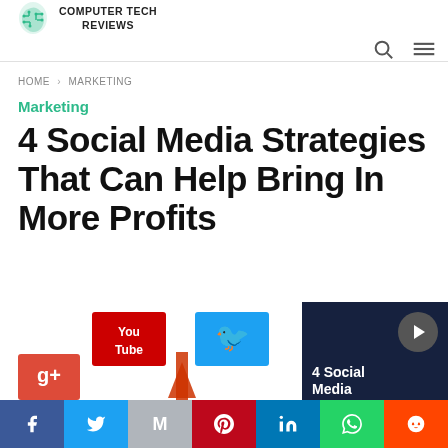COMPUTER TECH REVIEWS
HOME > MARKETING
Marketing
4 Social Media Strategies That Can Help Bring In More Profits
[Figure (illustration): Social media icons illustration showing YouTube, Twitter, Google+ icons with an upward arrow, plus a video thumbnail overlay showing '4 Social Media' text with play button]
Facebook | Twitter | Gmail | Pinterest | LinkedIn | WhatsApp | Reddit share buttons